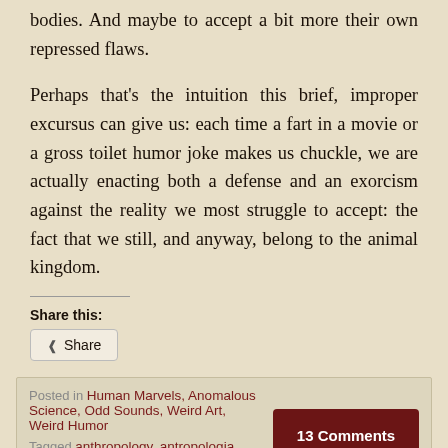bodies. And maybe to accept a bit more their own repressed flaws.
Perhaps that's the intuition this brief, improper excursus can give us: each time a fart in a movie or a gross toilet humor joke makes us chuckle, we are actually enacting both a defense and an exorcism against the reality we most struggle to accept: the fact that we still, and anyway, belong to the animal kingdom.
Share this:
Share
Posted in Human Marvels, Anomalous Science, Odd Sounds, Weird Art, Weird Humor
Tagged anthropology, antropologia, Braigetóir, Bunuel, business, cabaret, cultura, culture, fart
13 Comments